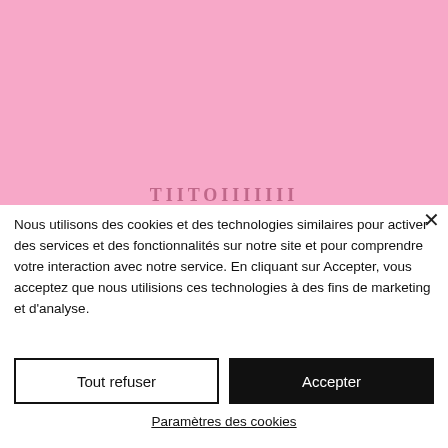[Figure (photo): Pink background photo, solid pink/light pink gradient background occupying the top portion of the page]
TITOMIMI
Nous utilisons des cookies et des technologies similaires pour activer des services et des fonctionnalités sur notre site et pour comprendre votre interaction avec notre service. En cliquant sur Accepter, vous acceptez que nous utilisions ces technologies à des fins de marketing et d'analyse.
Tout refuser
Accepter
Paramètres des cookies